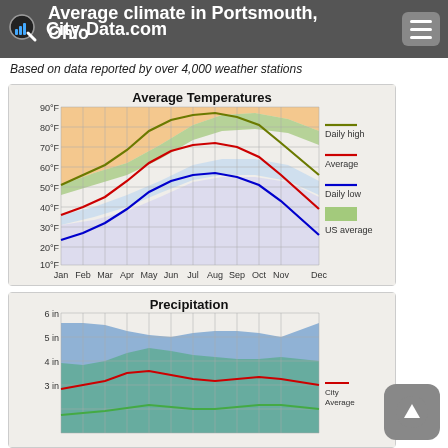City-Data.com
Average climate in Portsmouth, Ohio
Based on data reported by over 4,000 weather stations
[Figure (continuous-plot): Line chart showing daily high (olive/dark yellow), average (red), and daily low (blue) temperatures for Portsmouth, Ohio across 12 months (Jan-Dec). Y-axis from 10°F to 90°F. Background shading: orange for daily high range, green for US average range, blue/lavender for daily low range. Daily high peaks ~86°F in July, average peaks ~74°F in July, daily low peaks ~64°F in July. Daily high troughs ~42°F in Jan, average ~30°F in Jan, daily low ~20°F in Jan.]
[Figure (continuous-plot): Area chart showing precipitation in inches for Portsmouth, Ohio. Y-axis from 0 to 6 inches. Blue shaded area and teal/green shaded area visible. Red line and green line showing city average and US average precipitation curves.]